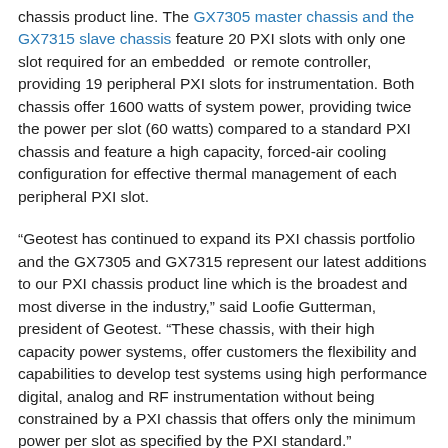chassis product line. The GX7305 master chassis and the GX7315 slave chassis feature 20 PXI slots with only one slot required for an embedded or remote controller, providing 19 peripheral PXI slots for instrumentation. Both chassis offer 1600 watts of system power, providing twice the power per slot (60 watts) compared to a standard PXI chassis and feature a high capacity, forced-air cooling configuration for effective thermal management of each peripheral PXI slot.
“Geotest has continued to expand its PXI chassis portfolio and the GX7305 and GX7315 represent our latest additions to our PXI chassis product line which is the broadest and most diverse in the industry,” said Loofie Gutterman, president of Geotest. “These chassis, with their high capacity power systems, offer customers the flexibility and capabilities to develop test systems using high performance digital, analog and RF instrumentation without being constrained by a PXI chassis that offers only the minimum power per slot as specified by the PXI standard.”